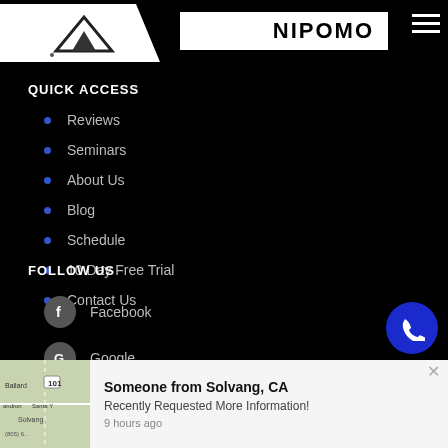NIPOMO
QUICK ACCESS
Reviews
Seminars
About Us
Blog
Schedule
10 Day Free Trial
Contact Us
FOLLOW US
Facebook
Google
Someone from Solvang, CA
Recently Requested More Information!
9 hours ago